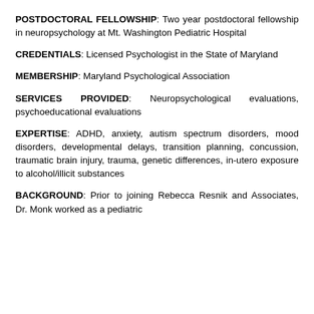POSTDOCTORAL FELLOWSHIP: Two year postdoctoral fellowship in neuropsychology at Mt. Washington Pediatric Hospital
CREDENTIALS: Licensed Psychologist in the State of Maryland
MEMBERSHIP: Maryland Psychological Association
SERVICES PROVIDED: Neuropsychological evaluations, psychoeducational evaluations
EXPERTISE: ADHD, anxiety, autism spectrum disorders, mood disorders, developmental delays, transition planning, concussion, traumatic brain injury, trauma, genetic differences, in-utero exposure to alcohol/illicit substances
BACKGROUND: Prior to joining Rebecca Resnik and Associates, Dr. Monk worked as a pediatric